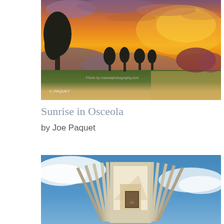[Figure (illustration): Oil painting of a sunset/sunrise landscape in Osceola. Dramatic orange and golden sky with clouds, silhouetted dark trees in the foreground, green fields in the distance. Watermark text reads 'Photo by rossowphotography.com' and signature 'V. PAQUET' in lower left corner.]
Sunrise in Osceola
by Joe Paquet
[Figure (photo): Photograph or artwork depicting an open book fanned out against a blue sky with white clouds background. The book pages spread outward creating a architectural/sculptural effect. There appears to be a small photograph or image embedded within the book pages.]